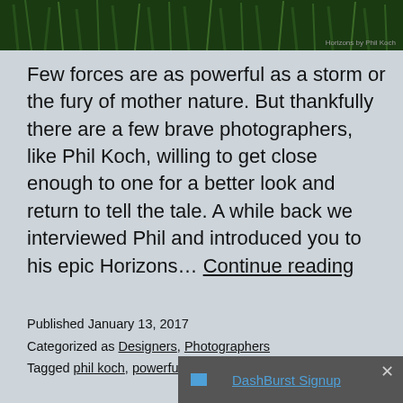[Figure (photo): Close-up photo of green grass/foliage with caption 'Horizons by Phil Koch' in bottom right]
Few forces are as powerful as a storm or the fury of mother nature. But thankfully there are a few brave photographers, like Phil Koch, willing to get close enough to one for a better look and return to tell the tale. A while back we interviewed Phil and introduced you to his epic Horizons… Continue reading
Published January 13, 2017
Categorized as Designers, Photographers
Tagged phil koch, powerful, s…
× DashBurst Signup